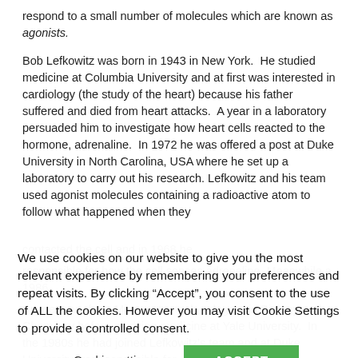respond to a small number of molecules which are known as agonists.
Bob Lefkowitz was born in 1943 in New York. He studied medicine at Columbia University and at first was interested in cardiology (the study of the heart) because his father suffered and died from heart attacks. A year in a laboratory persuaded him to investigate how heart cells reacted to the hormone, adrenaline. In 1972 he was offered a post at Duke University in North Carolina, USA where he set up a laboratory to carry out his research. Lefkowitz and his team used agonist molecules containing a radioactive atom to follow what happened when they
We use cookies on our website to give you the most relevant experience by remembering your preferences and repeat visits. By clicking "Accept", you consent to the use of ALL the cookies. However you may visit Cookie Settings to provide a controlled consent.